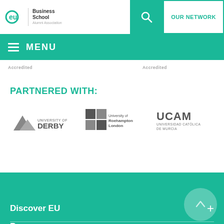[Figure (logo): EU Business School Alumni Association logo in teal/green, with text Business School Alumni Association]
[Figure (logo): Search icon (magnifying glass) on teal background]
OUR NETWORK
MENU
Accredited
Accredited
PARTNERED WITH:
[Figure (logo): University of Derby logo - mountain graphic with text UNIVERSITY OF DERBY in gray]
[Figure (logo): University of Roehampton London logo - stylized R letterform in dark gray with text University of Roehampton London]
[Figure (logo): UCAM Universidad Católica de Murcia logo in gray]
Discover EU
Programs